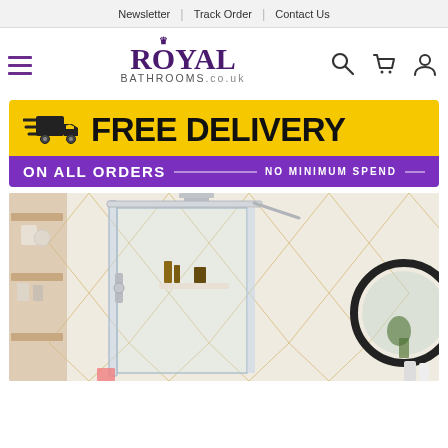Newsletter | Track Order | Contact Us
[Figure (logo): Royal Bathrooms .co.uk logo with hamburger menu and search/cart/account icons]
[Figure (infographic): Free Delivery on all orders - No Minimum Spend banner with yellow top and purple bottom stripe, delivery truck icon]
[Figure (photo): Bathroom interior photo showing a glass shower enclosure with chrome fixtures, geometric patterned tiles in white and gold, shelving with decor items, and a round black-framed mirror on the right]